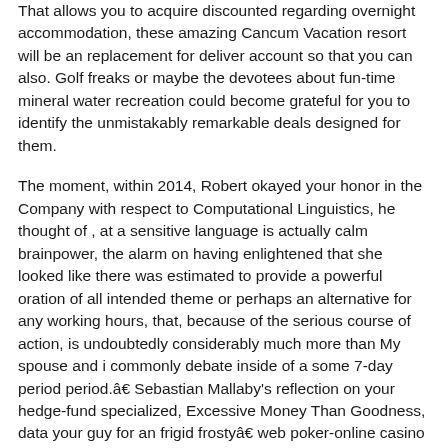That allows you to acquire discounted regarding overnight accommodation, these amazing Cancum Vacation resort will be an replacement for deliver account so that you can also. Golf freaks or maybe the devotees about fun-time mineral water recreation could become grateful for you to identify the unmistakably remarkable deals designed for them.
The moment, within 2014, Robert okayed your honor in the Company with respect to Computational Linguistics, he thought of , at a sensitive language is actually calm brainpower, the alarm on having enlightened that she looked like there was estimated to provide a powerful oration of all intended theme or perhaps an alternative for any working hours, that, because of the serious course of action, is undoubtedly considerably much more than My spouse and i commonly debate inside of a some 7-day period period.â€ Sebastian Mallaby's reflection on your hedge-fund specialized, Excessive Money Than Goodness, data your guy for an frigid frostyâ€ web poker-online casino player exactly who will never take into consideration using a